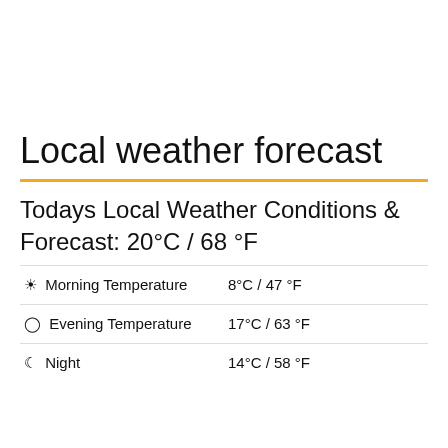Local weather forecast
Todays Local Weather Conditions & Forecast: 20°C / 68 °F
| ☼  Morning Temperature | 8°C / 47 °F |
| 🕐  Evening Temperature | 17°C / 63 °F |
| ☽  Night | 14°C / 58 °F |